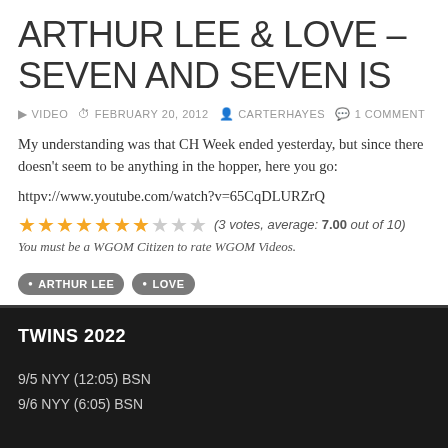ARTHUR LEE & LOVE – SEVEN AND SEVEN IS
▶ VIDEO  ⏱ FEBRUARY 20, 2012  👤 CARTERHAYES  💬 1 COMMENT
My understanding was that CH Week ended yesterday, but since there doesn't seem to be anything in the hopper, here you go:
httpv://www.youtube.com/watch?v=65CqDLURZrQ
(3 votes, average: 7.00 out of 10)
You must be a WGOM Citizen to rate WGOM Videos.
• ARTHUR LEE
• LOVE
TWINS 2022
9/5 NYY (12:05) BSN
9/6 NYY (6:05) BSN